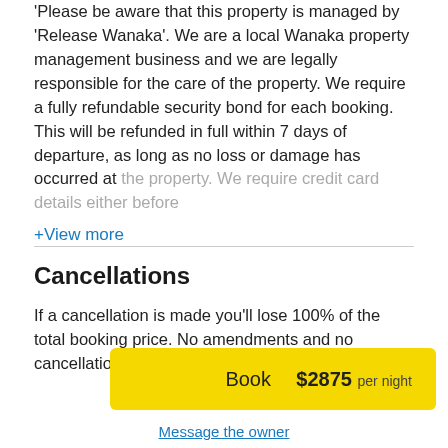'Please be aware that this property is managed by 'Release Wanaka'. We are a local Wanaka property management business and we are legally responsible for the care of the property. We require a fully refundable security bond for each booking. This will be refunded in full within 7 days of departure, as long as no loss or damage has occurred at the property. We require credit card details either before
+View more
Cancellations
If a cancellation is made you'll lose 100% of the total booking price. No amendments and no cancellations
Book   $2875 per night
Message the owner